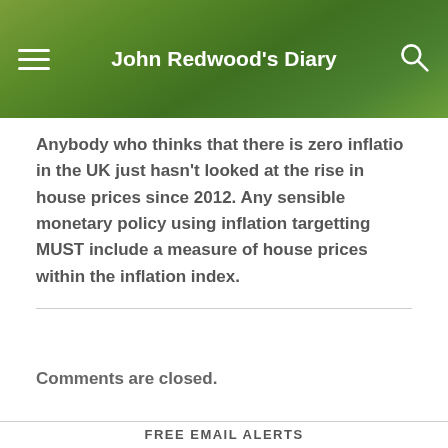John Redwood's Diary
Anybody who thinks that there is zero inflatio in the UK just hasn't looked at the rise in house prices since 2012. Any sensible monetary policy using inflation targetting MUST include a measure of house prices within the inflation index.
Comments are closed.
FREE EMAIL ALERTS